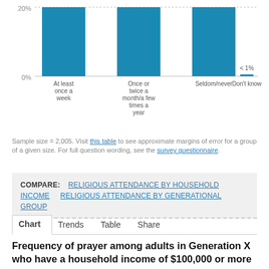[Figure (bar-chart): Religious attendance (partial, top of page)]
Sample size = 2,005. Visit this table to see approximate margins of error for a group of a given size. For full question wording, see the survey questionnaire.
COMPARE: RELIGIOUS ATTENDANCE BY HOUSEHOLD INCOME   RELIGIOUS ATTENDANCE BY GENERATIONAL GROUP
Chart   Trends   Table   Share
Frequency of prayer among adults in Generation X who have a household income of $100,000 or more